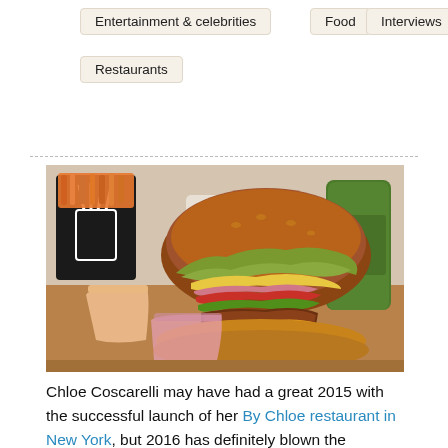Entertainment & celebrities
Food
Interviews
Restaurants
[Figure (photo): A large veggie burger with cheese, tomato, lettuce, corn and guacamole on a brioche bun, served alongside sweet potato fries in a black container and two drinks, on a wooden table.]
Chloe Coscarelli may have had a great 2015 with the successful launch of her By Chloe restaurant in New York, but 2016 has definitely blown the previous year out of the water!
After the success...